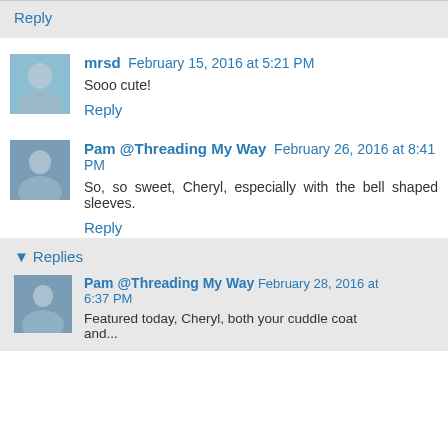Reply
mrsd  February 15, 2016 at 5:21 PM
Sooo cute!
Reply
Pam @Threading My Way  February 26, 2016 at 8:41 PM
So, so sweet, Cheryl, especially with the bell shaped sleeves.
Reply
Replies
Pam @Threading My Way  February 28, 2016 at 6:37 PM
Featured today, Cheryl, both your cuddle coat and...